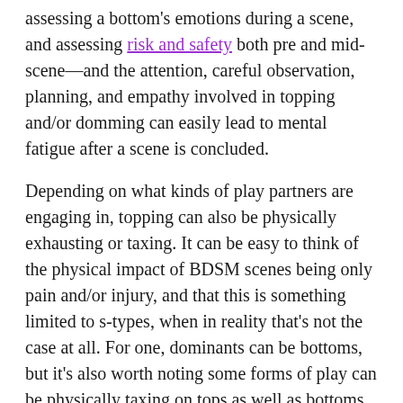assessing a bottom's emotions during a scene, and assessing risk and safety both pre and mid-scene—and the attention, careful observation, planning, and empathy involved in topping and/or domming can easily lead to mental fatigue after a scene is concluded.
Depending on what kinds of play partners are engaging in, topping can also be physically exhausting or taxing. It can be easy to think of the physical impact of BDSM scenes being only pain and/or injury, and that this is something limited to s-types, when in reality that's not the case at all. For one, dominants can be bottoms, but it's also worth noting some forms of play can be physically taxing on tops as well as bottoms. As an easy example, for people new to strap-ons, topping during play can be physically exhausting, as it uses muscles that they may not have used much before.